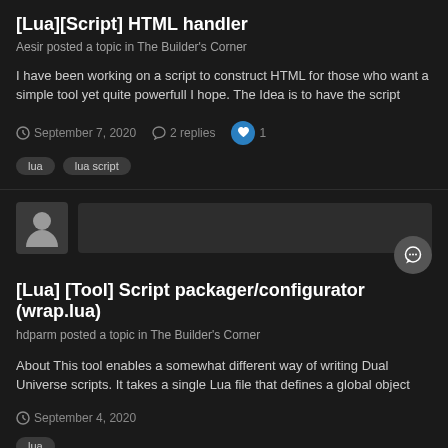[Lua][Script] HTML handler
Aesir posted a topic in The Builder's Corner
I have been working on a script to construct HTML for those who want a simple tool yet quite powerfull I hope. The Idea is to have the script
September 7, 2020  2 replies  1
lua
lua script
[Lua] [Tool] Script packager/configurator (wrap.lua)
hdparm posted a topic in The Builder's Corner
About This tool enables a somewhat different way of writing Dual Universe scripts. It takes a single Lua file that defines a global object
September 4, 2020
lua